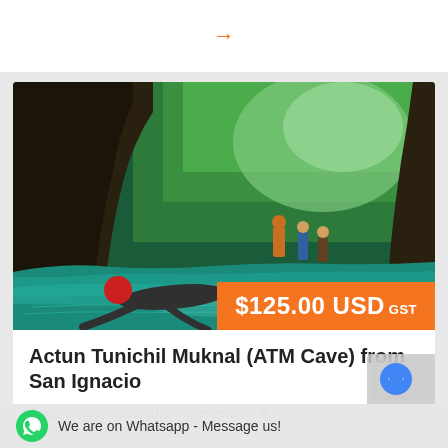[Figure (other): Orange arrow icon on white bar at top of page]
[Figure (photo): Cave tubing / swimming scene inside Actun Tunichil Muknal ATM Cave with turquoise water, one person swimming in foreground with red helmet, other people wading in background, lush green jungle visible through cave opening]
$125.00 USD GST
Actun Tunichil Muknal (ATM Cave) from San Ignacio
A top caving adventure experience!   A
We are on Whatsapp - Message us!